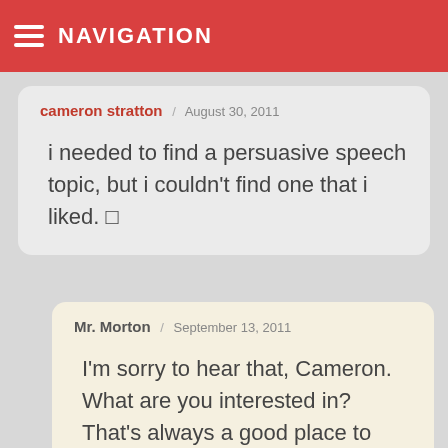NAVIGATION
cameron stratton / August 30, 2011

i needed to find a persuasive speech topic, but i couldn't find one that i liked. 🙁
Mr. Morton / September 13, 2011

I'm sorry to hear that, Cameron. What are you interested in? That's always a good place to start…